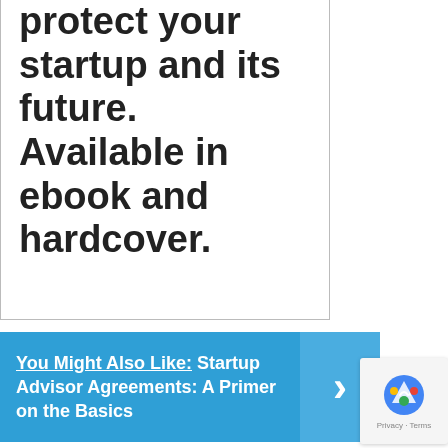protect your startup and its future. Available in ebook and hardcover.
Buy the Book on Amazon
You Might Also Like: Startup Advisor Agreements: A Primer on the Basics
[Figure (other): reCAPTCHA widget with Google logo and Privacy - Terms text]